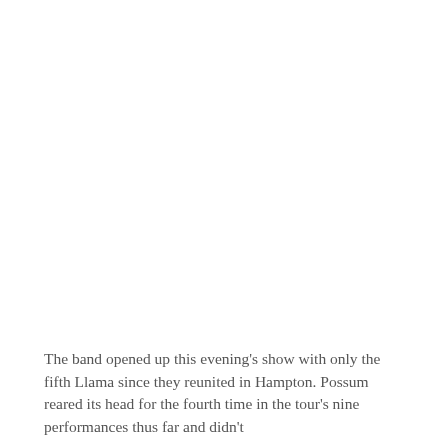The band opened up this evening's show with only the fifth Llama since they reunited in Hampton. Possum reared its head for the fourth time in the tour's nine performances thus far and didn't